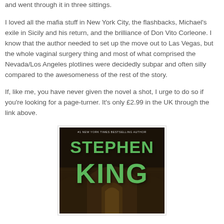and went through it in three sittings.
I loved all the mafia stuff in New York City, the flashbacks, Michael's exile in Sicily and his return, and the brilliance of Don Vito Corleone. I know that the author needed to set up the move out to Las Vegas, but the whole vaginal surgery thing and most of what comprised the Nevada/Los Angeles plotlines were decidedly subpar and often silly compared to the awesomeness of the rest of the story.
If, like me, you have never given the novel a shot, I urge to do so if you're looking for a page-turner. It's only £2.99 in the UK through the link above.
[Figure (photo): Book cover showing Stephen King author name in green text on dark brown architectural background with arches]